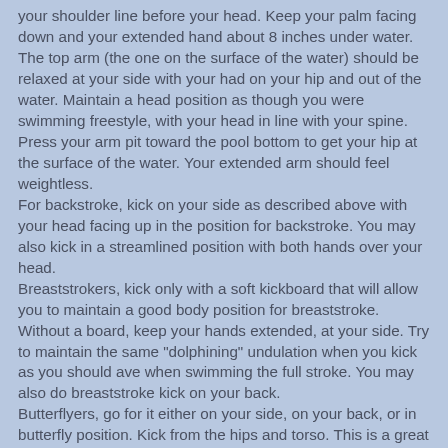your shoulder line before your head. Keep your palm facing down and your extended hand about 8 inches under water. The top arm (the one on the surface of the water) should be relaxed at your side with your had on your hip and out of the water. Maintain a head position as though you were swimming freestyle, with your head in line with your spine. Press your arm pit toward the pool bottom to get your hip at the surface of the water. Your extended arm should feel weightless.
For backstroke, kick on your side as described above with your head facing up in the position for backstroke. You may also kick in a streamlined position with both hands over your head.
Breaststrokers, kick only with a soft kickboard that will allow you to maintain a good body position for breaststroke. Without a board, keep your hands extended, at your side. Try to maintain the same "dolphining" undulation when you kick as you should ave when swimming the full stroke. You may also do breaststroke kick on your back.
Butterflyers, go for it either on your side, on your back, or in butterfly position. Kick from the hips and torso. This is a great "ab" workout.